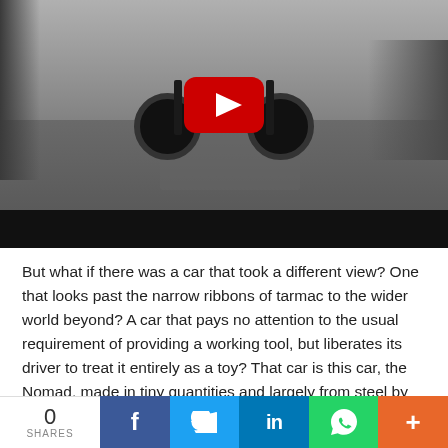[Figure (photo): Black and white photo of a bare-frame dune buggy / off-road car chassis viewed from behind on a wet country lane, with a YouTube play button overlay. A black control bar sits below the image.]
But what if there was a car that took a different view? One that looks past the narrow ribbons of tarmac to the wider world beyond? A car that pays no attention to the usual requirement of providing a working tool, but liberates its driver to treat it entirely as a toy? That car is this car, the Nomad, made in tiny quantities and largely from steel by the delightfully free-thinking Ariel Motor Company in the south-west of England.
The philosophy behind the Nomad is simplicity itself to explain, yet requires a car with such a rare skill-set no-one has built anything like it before. The idea was no more than to build a car that was fun everywhere. And ‘everywhere’ doesn’t mean merely
0 SHARES  f  in  (whatsapp)  +